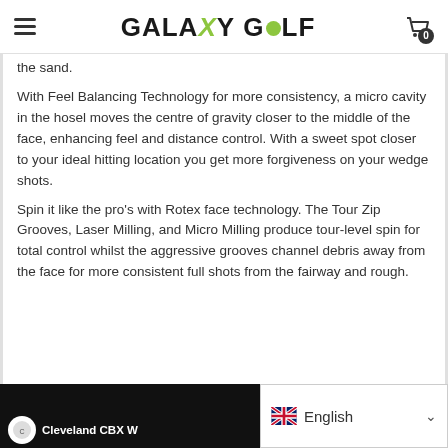GALAXY GOLF
the sand.
With Feel Balancing Technology for more consistency, a micro cavity in the hosel moves the centre of gravity closer to the middle of the face, enhancing feel and distance control. With a sweet spot closer to your ideal hitting location you get more forgiveness on your wedge shots.
Spin it like the pro's with Rotex face technology. The Tour Zip Grooves, Laser Milling, and Micro Milling produce tour-level spin for total control whilst the aggressive grooves channel debris away from the face for more consistent full shots from the fairway and rough.
[Figure (screenshot): Bottom strip showing a video thumbnail of Cleveland CBX W on black background, and a language selector showing UK flag and 'English' with a dropdown arrow.]